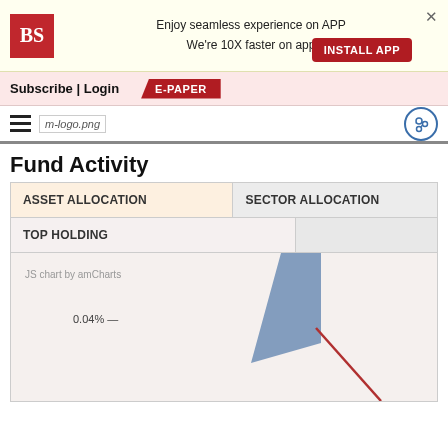[Figure (screenshot): App install banner with BS logo, text 'Enjoy seamless experience on APP We're 10X faster on app', INSTALL APP button, and X close button]
Subscribe | Login
E-PAPER
[Figure (logo): Hamburger menu icon, m-logo.png placeholder, and user/share icon on right]
Fund Activity
| ASSET ALLOCATION | SECTOR ALLOCATION |
| --- | --- |
| TOP HOLDING |  |
[Figure (continuous-plot): JS chart by amCharts showing a partial pie/donut chart with a blue wedge and a red line, labeled 0.04%]